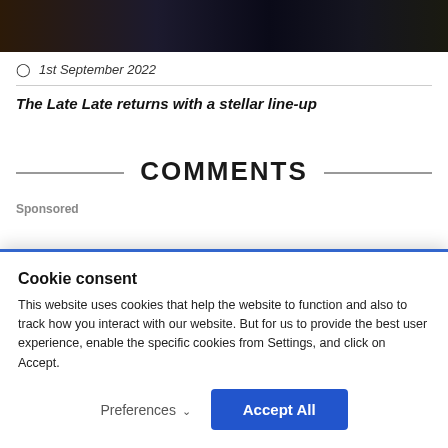[Figure (photo): Dark photo strip showing two people in suits, partially cropped]
1st September 2022
The Late Late returns with a stellar line-up
COMMENTS
Sponsored
Cookie consent
This website uses cookies that help the website to function and also to track how you interact with our website. But for us to provide the best user experience, enable the specific cookies from Settings, and click on Accept.
Preferences
Accept All